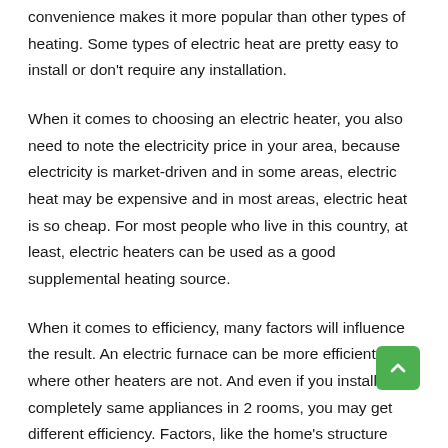convenience makes it more popular than other types of heating. Some types of electric heat are pretty easy to install or don't require any installation.
When it comes to choosing an electric heater, you also need to note the electricity price in your area, because electricity is market-driven and in some areas, electric heat may be expensive and in most areas, electric heat is so cheap. For most people who live in this country, at least, electric heaters can be used as a good supplemental heating source.
When it comes to efficiency, many factors will influence the result. An electric furnace can be more efficient where other heaters are not. And even if you installed 2 completely same appliances in 2 rooms, you may get different efficiency. Factors, like the home's structure